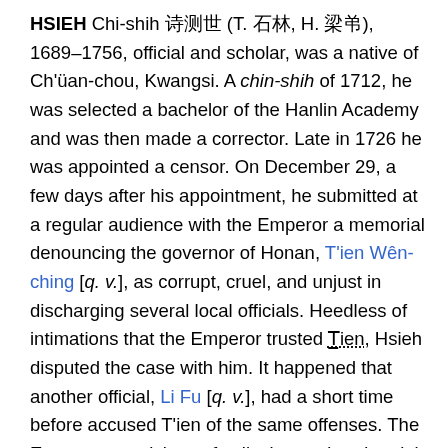HSIEH Chi-shih 謝濟世 (T. 石霖, H. 梅莊), 1689–1756, official and scholar, was a native of Ch'üan-chou, Kwangsi. A chin-shih of 1712, he was selected a bachelor of the Hanlin Academy and was then made a corrector. Late in 1726 he was appointed a censor. On December 29, a few days after his appointment, he submitted at a regular audience with the Emperor a memorial denouncing the governor of Honan, T'ien Wên-ching [q. v.], as corrupt, cruel, and unjust in discharging several local officials. Heedless of intimations that the Emperor trusted T̲ien, Hsieh disputed the case with him. It happened that another official, Li Fu [q. v.], had a short time before accused T'ien of the same offenses. The Emperor, suspicious of collusion, ordered a trial in which Hsieh admitted that his accusations were based on rumor. For these indiscretions Hsieh was sentenced to death. The sentence was commuted by the Emperor to banishment, and on the following day